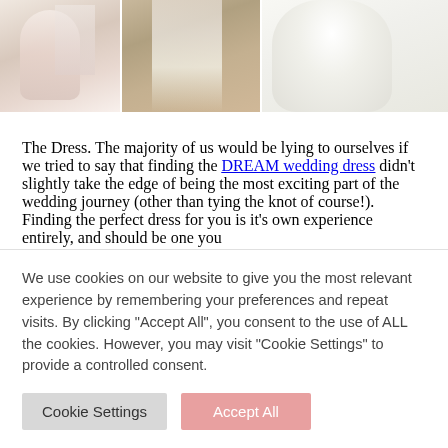[Figure (photo): Three wedding dress photos side by side: a lacy blush/pink gown, a flowing outdoor gown in a natural setting, and a white full-skirted gown]
The Dress. The majority of us would be lying to ourselves if we tried to say that finding the DREAM wedding dress didn't slightly take the edge of being the most exciting part of the wedding journey (other than tying the knot of course!). Finding the perfect dress for you is it's own experience entirely, and should be one you
We use cookies on our website to give you the most relevant experience by remembering your preferences and repeat visits. By clicking "Accept All", you consent to the use of ALL the cookies. However, you may visit "Cookie Settings" to provide a controlled consent.
Cookie Settings
Accept All